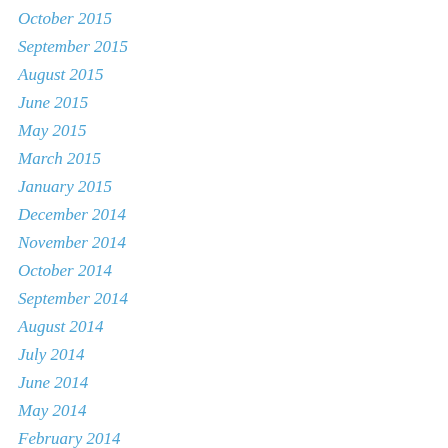October 2015
September 2015
August 2015
June 2015
May 2015
March 2015
January 2015
December 2014
November 2014
October 2014
September 2014
August 2014
July 2014
June 2014
May 2014
February 2014
December 2013
November 2013
October 2013
August 2013